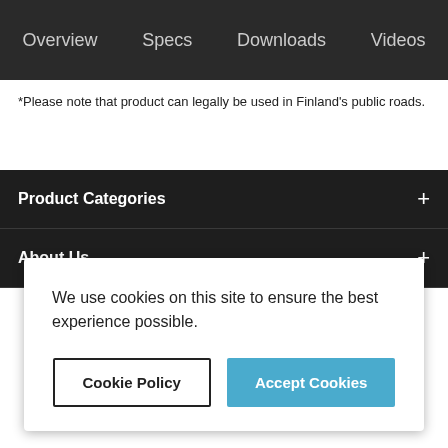Overview  Specs  Downloads  Videos
*Please note that product can legally be used in Finland's public roads.
Product Categories
About Us
We use cookies on this site to ensure the best experience possible.
Cookie Policy  Accept Cookies